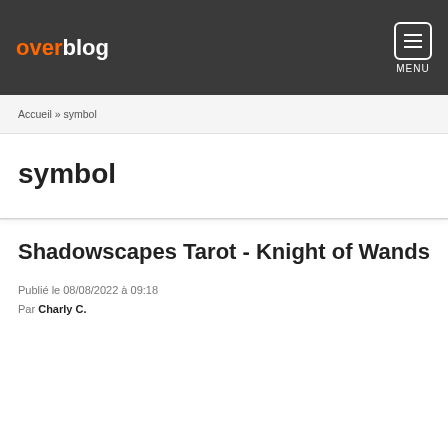overblog MENU
Accueil » symbol
symbol
Shadowscapes Tarot - Knight of Wands
Publié le 08/08/2022 à 09:18
Par Charly C.